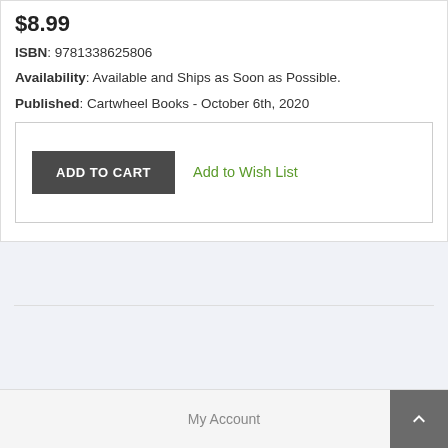$8.99
ISBN: 9781338625806
Availability: Available and Ships as Soon as Possible.
Published: Cartwheel Books - October 6th, 2020
ADD TO CART
Add to Wish List
My Account